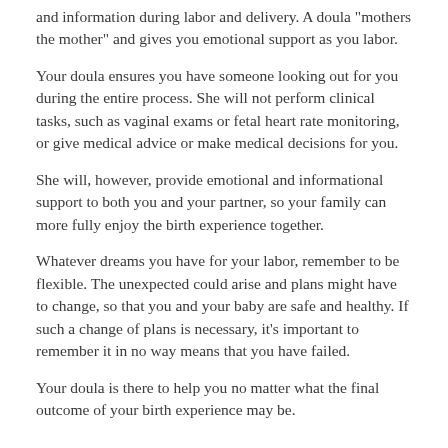and information during labor and delivery. A doula "mothers the mother" and gives you emotional support as you labor.
Your doula ensures you have someone looking out for you during the entire process. She will not perform clinical tasks, such as vaginal exams or fetal heart rate monitoring, or give medical advice or make medical decisions for you.
She will, however, provide emotional and informational support to both you and your partner, so your family can more fully enjoy the birth experience together.
Whatever dreams you have for your labor, remember to be flexible. The unexpected could arise and plans might have to change, so that you and your baby are safe and healthy. If such a change of plans is necessary, it's important to remember it in no way means that you have failed.
Your doula is there to help you no matter what the final outcome of your birth experience may be.